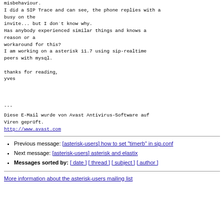misbehaviour.
I did a SIP Trace and can see, the phone replies with a busy on the
invite... but I don´t know why.
Has anybody experienced similar things and knows a reason or a
workaround for this?
I am working on a asterisk 11.7 using sip-realtime peers with mysql.

thanks for reading,
yves
---
Diese E-Mail wurde von Avast Antivirus-Software auf Viren geprüft.
http://www.avast.com
Previous message: [asterisk-users] how to set "timerb" in sip.conf
Next message: [asterisk-users] asterisk and elastix
Messages sorted by: [ date ] [ thread ] [ subject ] [ author ]
More information about the asterisk-users mailing list